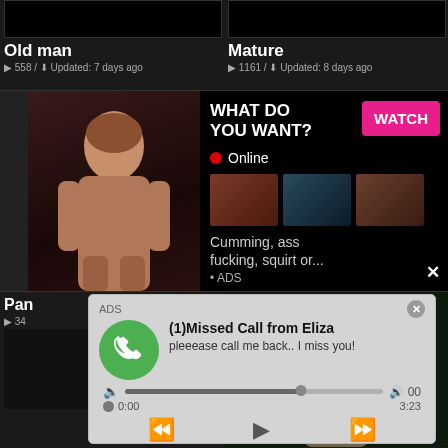[Figure (screenshot): Video thumbnail for Old man category, dark background]
Old man
558 / Updated: 7 days ago
[Figure (screenshot): Video thumbnail for Mature category, dark background]
Mature
1161 / Updated: 8 days ago
[Figure (advertisement): Adult webcam advertisement with WHAT DO YOU WANT? text, WATCH button, Online indicator with red dot, three mini thumbnails, and text: Cumming, ass fucking, squirt or... ADS with X close button]
Pan
34
[Figure (screenshot): Fake missed call notification ad: ADS label, X close button, green phone icon circle, (1)Missed Call from Eliza, pleeease call me back.. I miss you!, audio player with progress bar, time 0:00 to 3:23, playback controls: rewind, play, fast-forward]